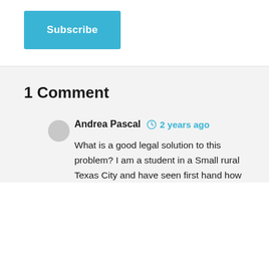Subscribe
1 Comment
Andrea Pascal  2 years ago
What is a good legal solution to this problem? I am a student in a Small rural Texas City and have seen first hand how